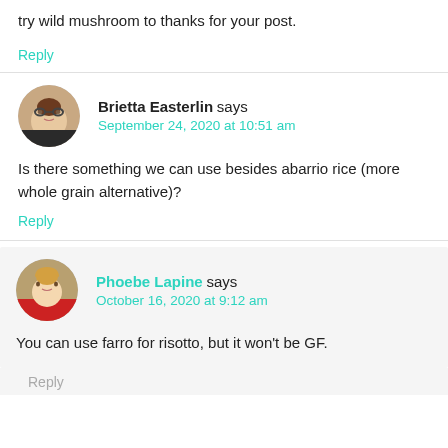try wild mushroom to thanks for your post.
Reply
Brietta Easterlin says
September 24, 2020 at 10:51 am
Is there something we can use besides abarrio rice (more whole grain alternative)?
Reply
Phoebe Lapine says
October 16, 2020 at 9:12 am
You can use farro for risotto, but it won't be GF.
Reply